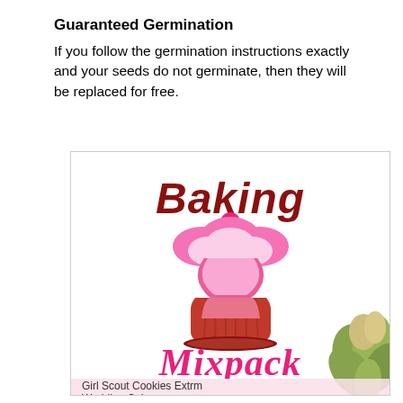Guaranteed Germination
If you follow the germination instructions exactly and your seeds do not germinate, then they will be replaced for free.
[Figure (logo): Baking Mixpack logo: dark red arched 'Baking' text above a pink cupcake illustration with hot pink frosting and a cherry on top, with 'Mixpack' in hot pink script below. Bottom section shows cannabis plant imagery and text listing: Girl Scout Cookies Extrm, Wedding Cake, Cherry Pie]